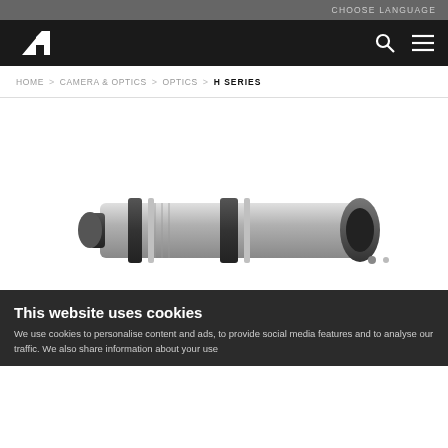CHOOSE LANGUAGE
[Figure (logo): Peak Design logo – stylized italic 'P' arrow in white on black background with search and menu icons]
HOME > CAMERA & OPTICS > OPTICS > H SERIES
[Figure (photo): Product photo of an H Series optics/scope device shown partially, in grayscale, positioned at bottom-center of white area]
This website uses cookies
We use cookies to personalise content and ads, to provide social media features and to analyse our traffic. We also share information about your use